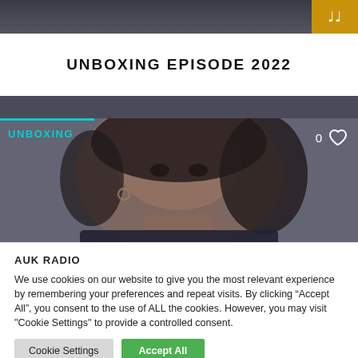[Figure (screenshot): Top image strip showing a person in dark clothing with a golden music note icon box in top right]
UNBOXING EPISODE 2022
[Figure (photo): Video thumbnail showing a close-up photo of a young Black woman with curly hair, with 'UNBOXING' label in cyan and a heart/like counter showing 0]
AUK RADIO
We use cookies on our website to give you the most relevant experience by remembering your preferences and repeat visits. By clicking “Accept All”, you consent to the use of ALL the cookies. However, you may visit "Cookie Settings" to provide a controlled consent.
Cookie Settings
Accept All